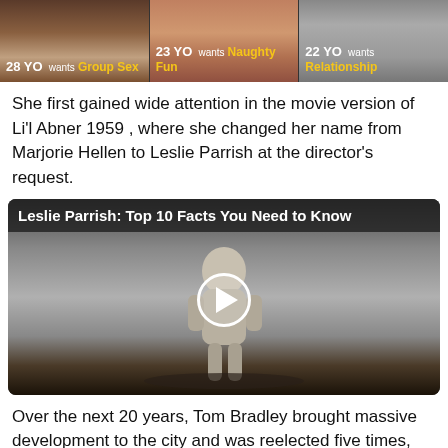[Figure (photo): Advertisement banner with three panels showing ages and desires: '28 YO wants Group Sex', '23 YO wants Naughty Fun', '22 YO wants Relationship']
She first gained wide attention in the movie version of Li'l Abner 1959 , where she changed her name from Marjorie Hellen to Leslie Parrish at the director's request.
[Figure (screenshot): Video thumbnail of Leslie Parrish in black and white photo, with title 'Leslie Parrish: Top 10 Facts You Need to Know' and a play button overlay]
Over the next 20 years, Tom Bradley brought massive development to the city and was reelected five times, setting a record for length of tenure.